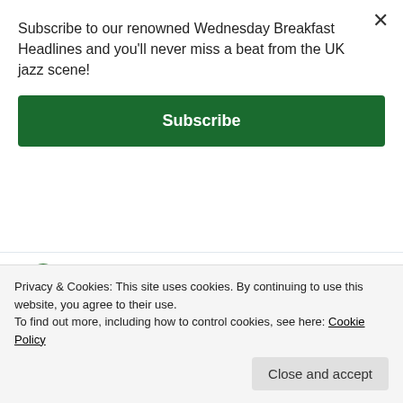Subscribe to our renowned Wednesday Breakfast Headlines and you'll never miss a beat from the UK jazz scene!
Subscribe
[Figure (screenshot): Tweet from LondonJ... (@L...) 54m ago: Mothers In Jazz (6): Nicole Johänntgen londonjazznews.com/2022/09/05/mot... with a partial photo of a person]
Mothers In Jazz (6): Nicole
Privacy & Cookies: This site uses cookies. By continuing to use this website, you agree to their use.
To find out more, including how to control cookies, see here: Cookie Policy
Close and accept